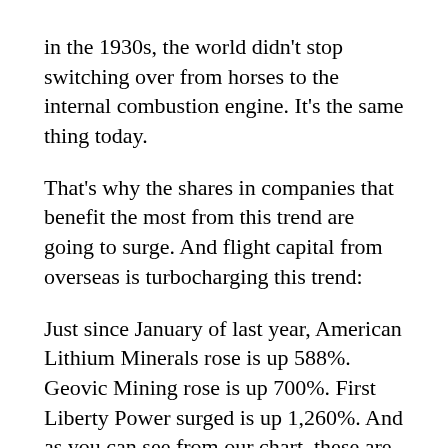in the 1930s, the world didn't stop switching over from horses to the internal combustion engine. It's the same thing today.
That's why the shares in companies that benefit the most from this trend are going to surge. And flight capital from overseas is turbocharging this trend:
Just since January of last year, American Lithium Minerals rose is up 588%. Geovic Mining rose is up 700%. First Liberty Power surged is up 1,260%. And as you can see from our chart, these are not even the biggest winners.
Category C — Leveraged Investments
If there ever was a time to use leverage, THIS IS